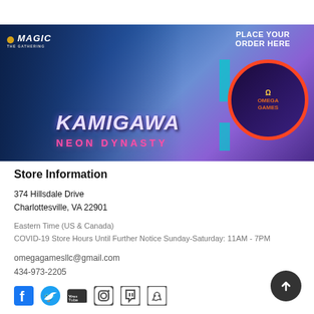[Figure (illustration): Magic: The Gathering Kamigawa Neon Dynasty banner ad featuring a dark-armored character, the Magic logo, Kamigawa Neon Dynasty title text, a store logo circle with red border, and 'Place Your Order Here' text on a blue-purple gradient background]
Store Information
374 Hillsdale Drive
Charlottesville, VA 22901
Eastern Time (US & Canada)
COVID-19 Store Hours Until Further Notice Sunday-Saturday: 11AM - 7PM
omegagamesllc@gmail.com
434-973-2205
[Figure (illustration): Social media icons row: Facebook, Twitter, YouTube, Instagram, Twitch, Discord]